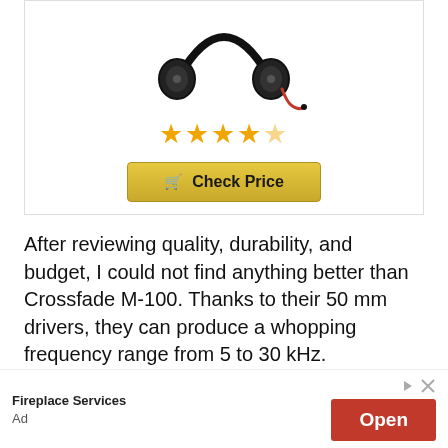[Figure (photo): Black over-ear headphones (Crossfade M-100) with an orange/red coiled cable, viewed from above at an angle.]
[Figure (other): Star rating: 4 out of 5 stars (4 filled gold stars and 1 half/faded star)]
[Figure (other): Gold 'Check Price' button with a shopping cart icon]
After reviewing quality, durability, and budget, I could not find anything better than Crossfade M-100. Thanks to their 50 mm drivers, they can produce a whopping frequency range from 5 to 30 kHz.
[Figure (other): Advertisement banner: 'Fireplace Services' with an 'Open' button in red on the right side, with play and close icons.]